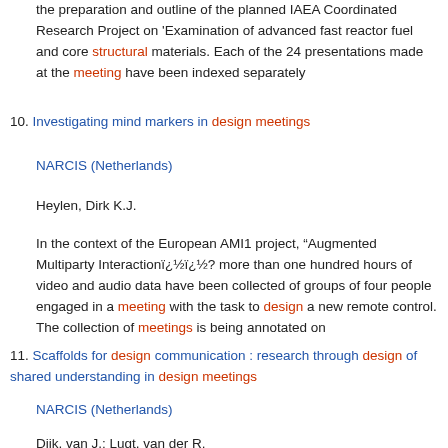the preparation and outline of the planned IAEA Coordinated Research Project on 'Examination of advanced fast reactor fuel and core structural materials. Each of the 24 presentations made at the meeting have been indexed separately
10. Investigating mind markers in design meetings
NARCIS (Netherlands)
Heylen, Dirk K.J.
In the context of the European AMI1 project, “Augmented Multiparty Interaction��? more than one hundred hours of video and audio data have been collected of groups of four people engaged in a meeting with the task to design a new remote control. The collection of meetings is being annotated on
11. Scaffolds for design communication : research through design of shared understanding in design meetings
NARCIS (Netherlands)
Dijk, van J.; Lugt, van der R.